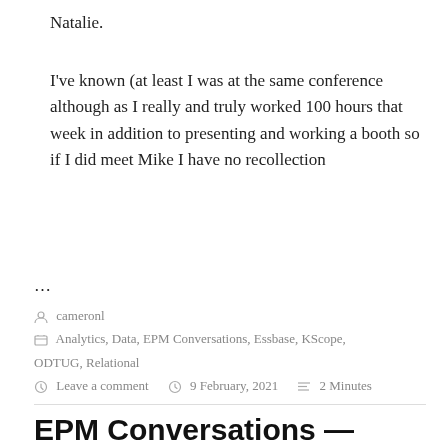Natalie.
I've known (at least I was at the same conference although as I really and truly worked 100 hours that week in addition to presenting and working a booth so if I did meet Mike I have no recollection
…
cameronl
Analytics, Data, EPM Conversations, Essbase, KScope, ODTUG, Relational
Leave a comment   9 February, 2021   2 Minutes
EPM Conversations —